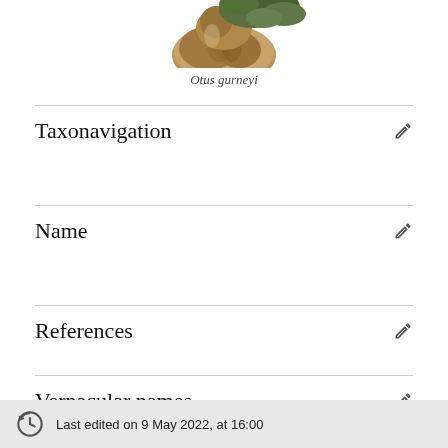[Figure (illustration): Partial illustration of a bird (Otus gurneyi) showing the top portion with plumage and foliage, cropped at top of page.]
Otus gurneyi
Taxonavigation
Name
References
Vernacular names
Last edited on 9 May 2022, at 16:00